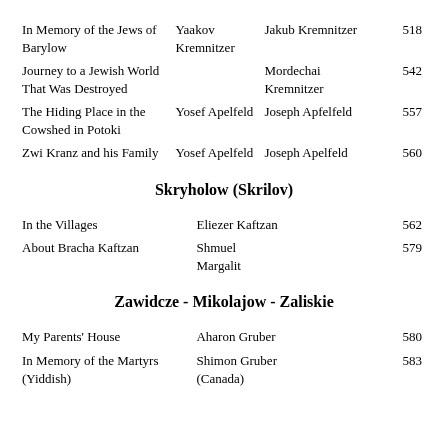| Title | Author (Original) | Author (Translated) | Page |
| --- | --- | --- | --- |
| In Memory of the Jews of Barylow | Yaakov Kremnitzer | Jakub Kremnitzer | 518 |
| Journey to a Jewish World That Was Destroyed |  | Mordechai Kremnitzer | 542 |
| The Hiding Place in the Cowshed in Potoki | Yosef Apelfeld | Joseph Apfelfeld | 557 |
| Zwi Kranz and his Family | Yosef Apelfeld | Joseph Apelfeld | 560 |
Skryholow (Skrilov)
| Title | Author | Page |
| --- | --- | --- |
| In the Villages | Eliezer Kaftzan | 562 |
| About Bracha Kaftzan | Shmuel Margalit | 579 |
Zawidcze - Mikolajow - Zaliskie
| Title | Author | Page |
| --- | --- | --- |
| My Parents' House | Aharon Gruber | 580 |
| In Memory of the Martyrs (Yiddish) | Shimon Gruber (Canada) | 583 |